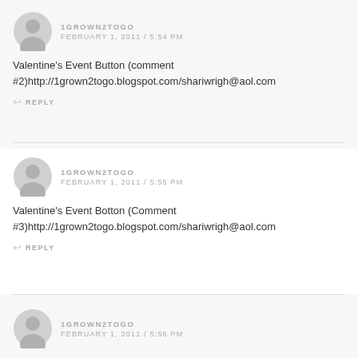[Figure (other): Hamburger menu icon in top right corner]
1GROWN2TOGO
FEBRUARY 1, 2011 / 5:54 PM
Valentine's Event Button (comment #2)http://1grown2togo.blogspot.com/shariwrigh@aol.com
REPLY
1GROWN2TOGO
FEBRUARY 1, 2011 / 5:55 PM
Valentine's Event Botton (Comment #3)http://1grown2togo.blogspot.com/shariwrigh@aol.com
REPLY
1GROWN2TOGO
FEBRUARY 1, 2011 / 5:56 PM